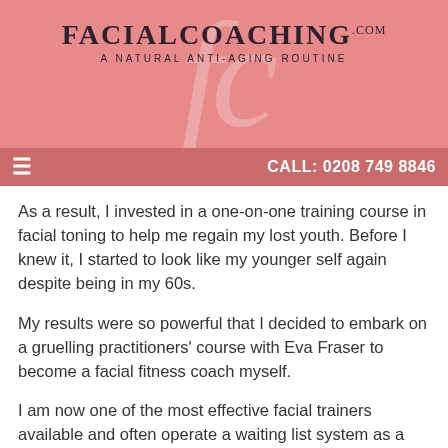[Figure (logo): FacialCoaching.com logo with cursive fc watermark on pink banner background. Tagline: A Natural Anti-Aging Routine]
CALL: 0208 749 8846
As a result, I invested in a one-on-one training course in facial toning to help me regain my lost youth.  Before I knew it, I started to look like my younger self again despite being in my 60s.
My results were so powerful that I decided to embark on a gruelling practitioners' course with Eva Fraser to become a facial fitness coach myself.
I am now one of the most effective facial trainers available and often operate a waiting list system as a result.
Call Now for a Free Consultation